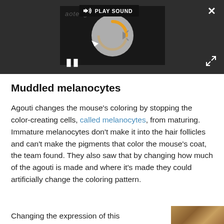[Figure (screenshot): A dark-themed media player UI with a 'PLAY SOUND' button/label, a loading spinner graphic (circular arrow in grey with an orange inner arc), pause button, and close/expand icons.]
Muddled melanocytes
Agouti changes the mouse's coloring by stopping the color-creating cells, called melanocytes, from maturing. Immature melanocytes don't make it into the hair follicles and can't make the pigments that color the mouse's coat, the team found. They also saw that by changing how much of the agouti is made and where it's made they could artificially change the coloring pattern.
Changing the expression of this